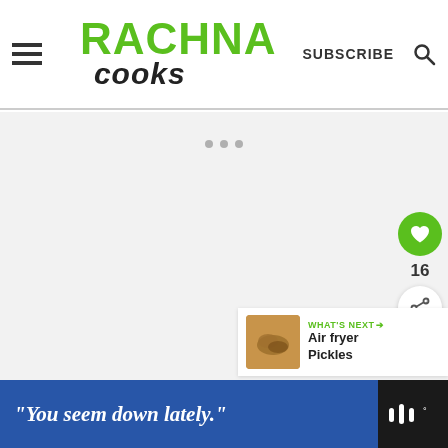RACHNA COOKS — SUBSCRIBE
[Figure (screenshot): Main content area of Rachna Cooks website with loading dots, heart/share side buttons, and What's Next Air fryer Pickles card]
16
WHAT'S NEXT → Air fryer Pickles
"You seem down lately."